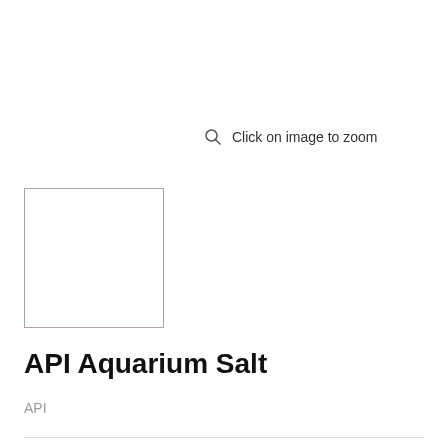Click on image to zoom
[Figure (other): Empty thumbnail placeholder box with reddish-brown border]
API Aquarium Salt
API